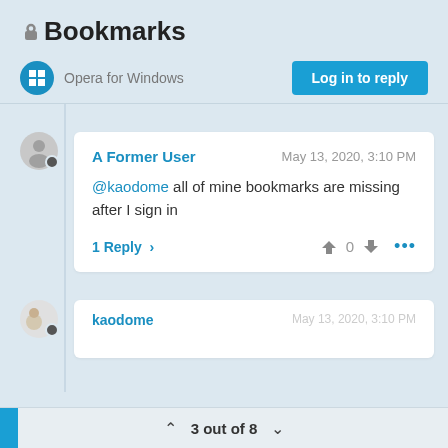🔒 Bookmarks
Opera for Windows
Log in to reply
A Former User   May 13, 2020, 3:10 PM
@kaodome all of mine bookmarks are missing after I sign in
1 Reply >   👍 0 👎 ...
3 out of 8